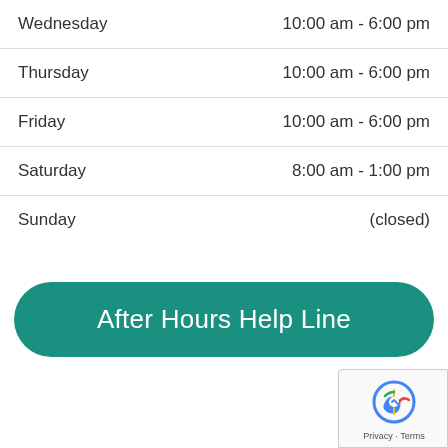| Day | Hours |
| --- | --- |
| Wednesday | 10:00 am - 6:00 pm |
| Thursday | 10:00 am - 6:00 pm |
| Friday | 10:00 am - 6:00 pm |
| Saturday | 8:00 am - 1:00 pm |
| Sunday | (closed) |
After Hours Help Line